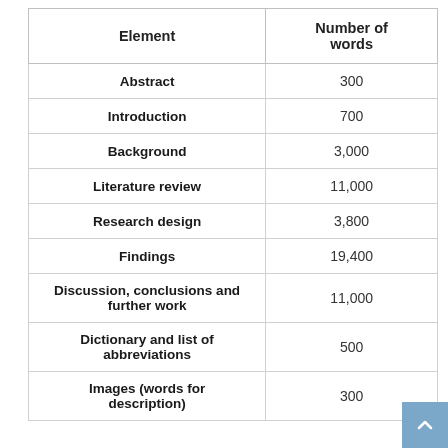| Element | Number of words |
| --- | --- |
| Abstract | 300 |
| Introduction | 700 |
| Background | 3,000 |
| Literature review | 11,000 |
| Research design | 3,800 |
| Findings | 19,400 |
| Discussion, conclusions and further work | 11,000 |
| Dictionary and list of abbreviations | 500 |
| Images (words for description) | 300 |